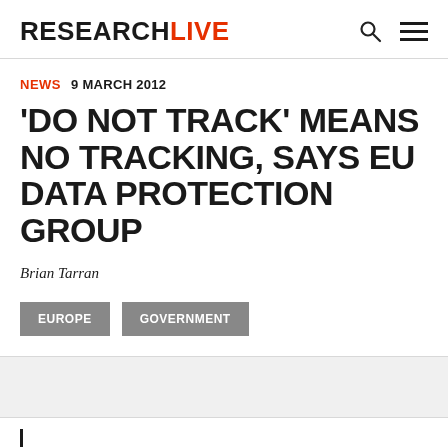RESEARCHLIVE
NEWS  9 MARCH 2012
'DO NOT TRACK' MEANS NO TRACKING, SAYS EU DATA PROTECTION GROUP
Brian Tarran
EUROPE
GOVERNMENT